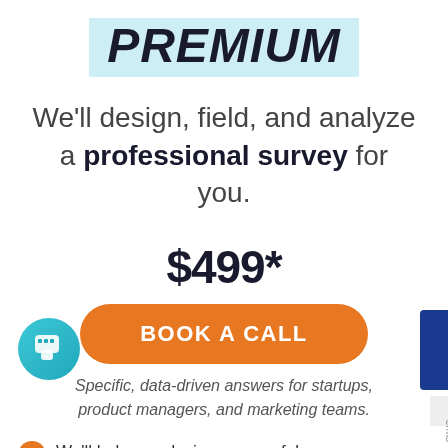PREMIUM
We'll design, field, and analyze a professional survey for you.
$499*
BOOK A CALL
Specific, data-driven answers for startups, product managers, and marketing teams.
We'll help you design a powerful